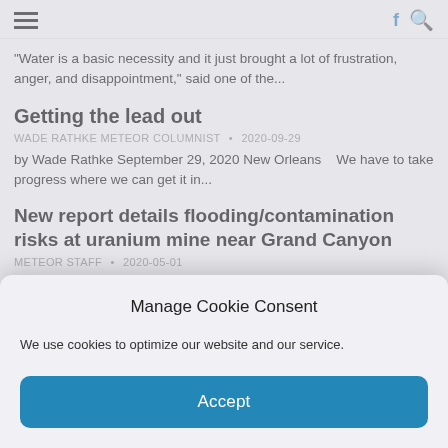☰  f 🔍
"Water is a basic necessity and it just brought a lot of frustration, anger, and disappointment," said one of the...
Getting the lead out
WADE RATHKE METEOR COLUMNIST  •  2020-09-29
by Wade Rathke September 29, 2020 New Orleans   We have to take progress where we can get it in...
New report details flooding/contamination risks at uranium mine near Grand Canyon
METEOR STAFF  •  2020-05-01
April 28, 2020 Flagstaff, Ariz.    The Grand Canyon Trust reports serious problems at the Canyon Mine uranium mine south of...
Climate change threatens drinking water quality
Manage Cookie Consent
We use cookies to optimize our website and our service.
Accept